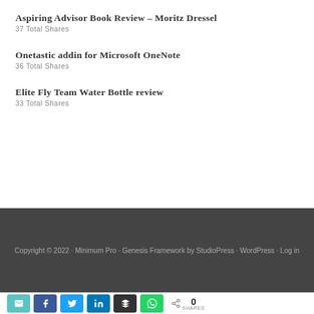Aspiring Advisor Book Review – Moritz Dressel
37 Total Shares
Onetastic addin for Microsoft OneNote
36 Total Shares
Elite Fly Team Water Bottle review
33 Total Shares
Copyright © 2022 · Minimum Pro · Genesis Framework by StudioPress · WordPress · Log in
0 SHARES